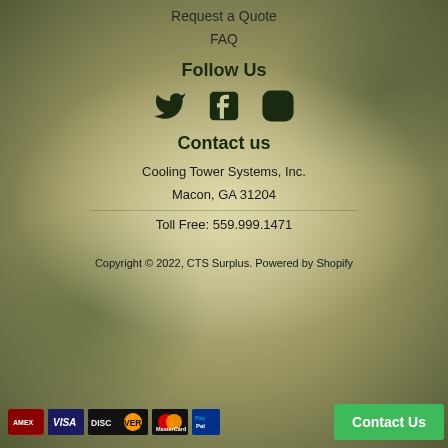Request a Quote
FAQ
Follow Us
[Figure (illustration): Social media icons for Twitter, Facebook, and Instagram displayed in dark green]
Contact us
Cooling Tower Systems, Inc.
Macon, GA 31204
Toll Free: 559.999.1471
Copyright © 2022, CTS Surplus. Powered by Shopify
[Figure (illustration): Payment method icons: American Express, Visa, Discover, MasterCard, PayPal]
Contact Us